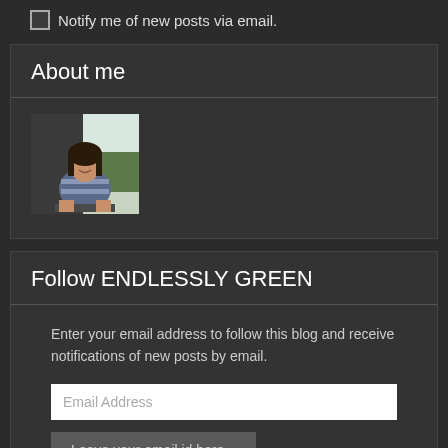Notify me of new posts via email.
About me
[Figure (photo): Profile photo of a young woman smiling, leaning against a balcony railing with greenery visible in the background, wearing a blue and white striped top]
Follow ENDLESSLY GREEN
Enter your email address to follow this blog and receive notifications of new posts by email.
Email Address
Leave your email id here...